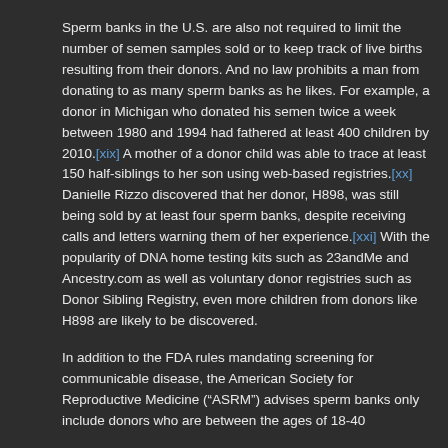Sperm banks in the U.S. are also not required to limit the number of semen samples sold or to keep track of live births resulting from their donors.  And no law prohibits a man from donating to as many sperm banks as he likes.  For example, a donor in Michigan who donated his semen twice a week between 1980 and 1994 had fathered at least 400 children by 2010.[xix]  A mother of a donor child was able to trace at least 150 half-siblings to her son using web-based registries.[xx]  Danielle Rizzo discovered that her donor, H898, was still being sold by at least four sperm banks, despite receiving calls and letters warning them of her experience.[xxi]  With the popularity of DNA home testing kits such as 23andMe and Ancestry.com as well as voluntary donor registries such as Donor Sibling Registry, even more children from donors like H898 are likely to be discovered.
In addition to the FDA rules mandating screening for communicable disease, the American Society for Reproductive Medicine (“ASRM”) advises sperm banks only include donors who are between the ages of 18-40